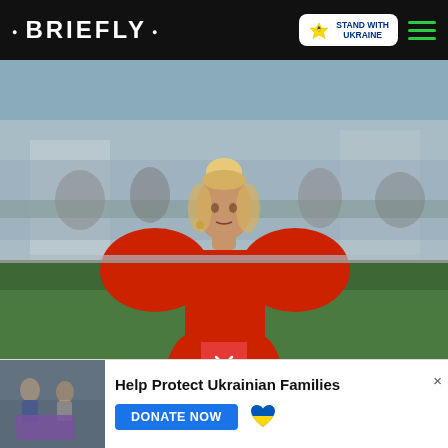• BRIEFLY •
[Figure (photo): Woman wearing a sculptural red dress with exaggerated rounded shoulders and hourglass silhouette, hair in a high bun, standing at what appears to be a red carpet event with crowd and green hedges in background]
[Figure (photo): Ad banner image showing people helping Ukrainian families, with text 'Help Protect Ukrainian Families' and a DONATE NOW button]